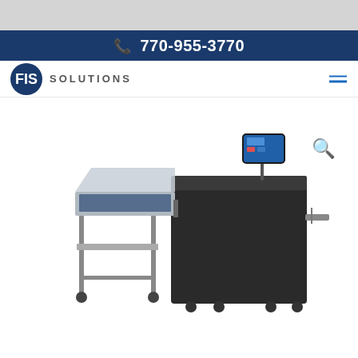770-955-3770
[Figure (logo): FIS Solutions logo with circular blue emblem and SOLUTIONS text in uppercase]
[Figure (photo): Industrial printing or inserting machine with a black main unit, attached feeder/input table on the left with gray metal stand and wheels, a touchscreen control panel on a swing arm at the top right, and an output tray on the right side. The machine sits on a white background.]